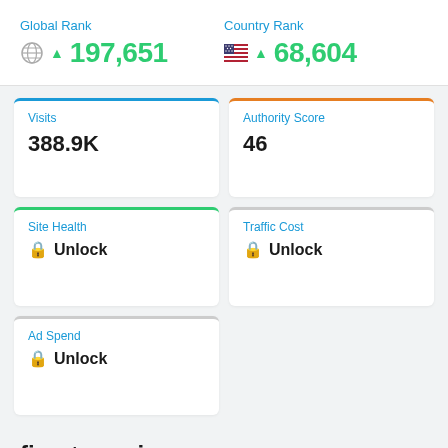Global Rank
▲ 197,651
Country Rank
▲ 68,604
Visits
388.9K
Authority Score
46
Site Health
🔒 Unlock
Traffic Cost
🔒 Unlock
Ad Spend
🔒 Unlock
firestormviewer.org
Web Traffic Statistics
Get a snapshot of firestormviewer.org's online performance